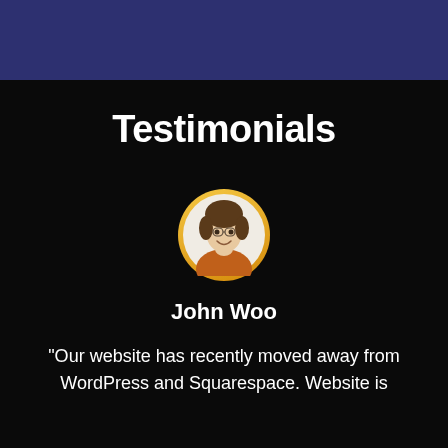[Figure (other): Dark navy blue header bar spanning full width at top of page]
Testimonials
[Figure (photo): Circular avatar photo of John Woo, a young man with curly hair wearing an orange/rust colored sweater, with a gold/yellow circular border frame against a black background]
John Woo
"Our website has recently moved away from WordPress and Squarespace. Website is